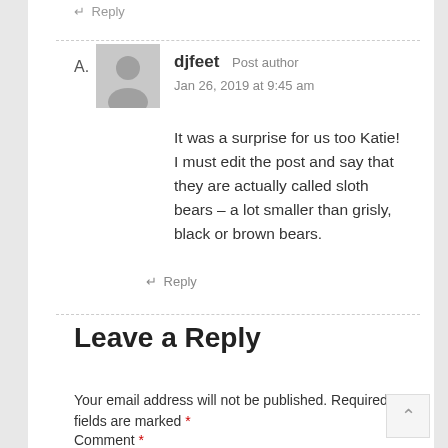↵ Reply
djfeet  Post author
Jan 26, 2019 at 9:45 am
It was a surprise for us too Katie! I must edit the post and say that they are actually called sloth bears – a lot smaller than grisly, black or brown bears.
↵ Reply
Leave a Reply
Your email address will not be published. Required fields are marked *
Comment *